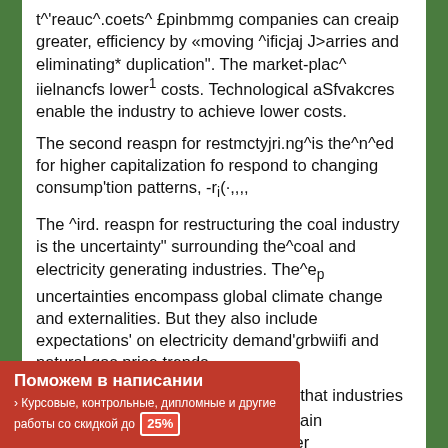t^'reauc^.coets^ £pinbmmg companies can creaip greater, efficiency by «moving ^ificjaj J>arries and eliminating* duplication". The market-plac^ iielnancfs lower¹ costs. Technological aSfvakcres enable the industry to achieve lower costs.
The second reaspn for restmctyjri.ng^is the^n^ed for higher capitalization fo respond to changing consump'tion patterns, -rᵢ(·,,,,
The ^ird. reaspn for restructuring the coal industry is the uncertainty" surrounding the^coal and electricity generating industries. The^eₚ uncertainties encompass global climate change and externalities. But they also include expectations' on electricity demand'grbwiifi and natural gas price trends.
The fourth reason is the recognition that industries ... ncies toʳremain ... uest for lower ... tterns'.
[Figure (other): Red advertisement overlay banner in Russian: 'Поможем в написании › Курсовые, контрольные, дипломные и другие работы со скидкой до 25%']